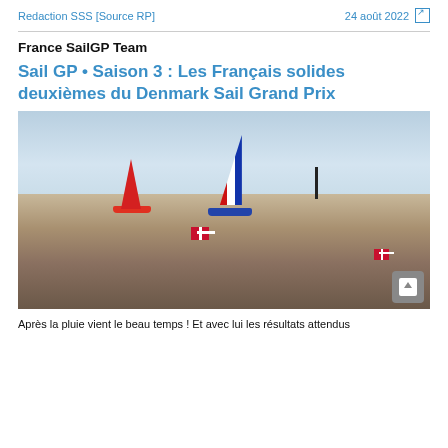Redaction SSS [Source RP]    24 août 2022
France SailGP Team
Sail GP • Saison 3 : Les Français solides deuxièmes du Denmark Sail Grand Prix
[Figure (photo): Crowd watching SailGP boats racing on the sea, people waving Danish flags, two prominent catamarans with coloured sails visible on the water]
Après la pluie vient le beau temps ! Et avec lui les résultats attendus